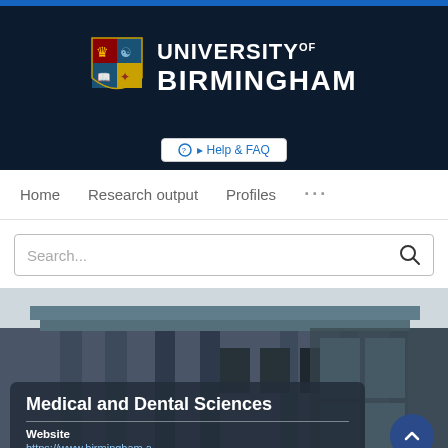[Figure (logo): University of Birmingham logo with crest and name]
Help & FAQ
Home   Research output   Profiles   ...
Search...
[Figure (photo): Photo of a University of Birmingham building exterior with classical architecture columns]
Medical and Dental Sciences
Website
https://www.birmingham.ac.uk/university/colleges/m